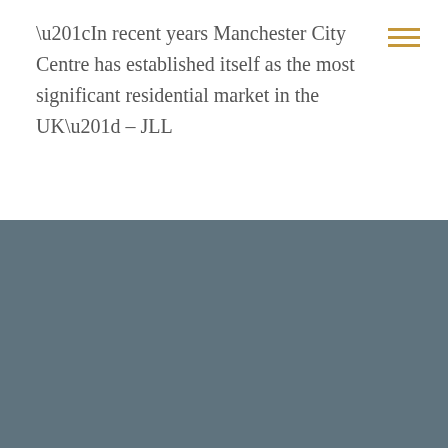“In recent years Manchester City Centre has established itself as the most significant residential market in the UK” – JLL
A robust economy
Manchester doesn’t just stand out when compared to other UK cities, economically it is amongst the highest performing urban areas in Europe. Recognising the city’s